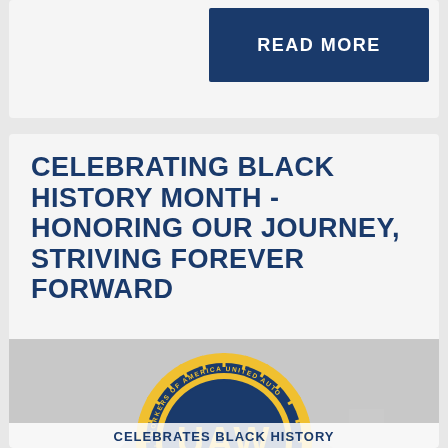READ MORE
CELEBRATING BLACK HISTORY MONTH - HONORING OUR JOURNEY, STRIVING FOREVER FORWARD
[Figure (logo): UAW (United Automobile, Aerospace and Agricultural Implement Workers of America) circular emblem with gear/sunburst border in blue and gold, with 'UAW' in large letters at center, overlaid on a faded historical photo of marchers]
CELEBRATES BLACK HISTORY